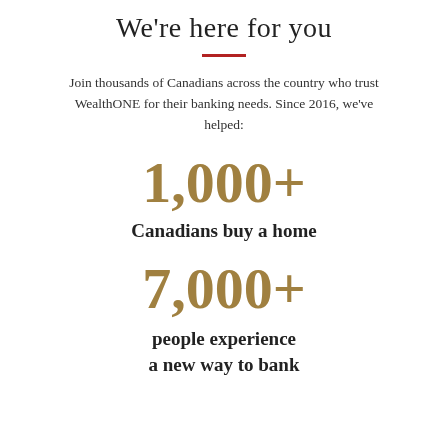We're here for you
Join thousands of Canadians across the country who trust WealthONE for their banking needs. Since 2016, we've helped:
1,000+
Canadians buy a home
7,000+
people experience a new way to bank